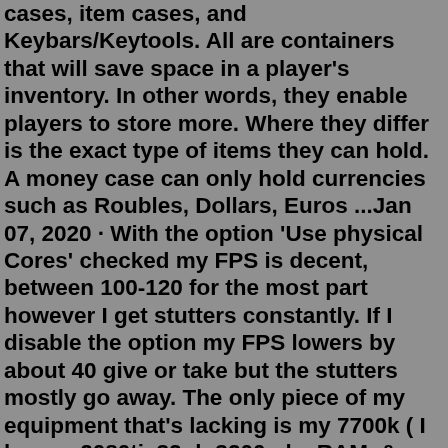cases, item cases, and Keybars/Keytools. All are containers that will save space in a player's inventory. In other words, they enable players to store more. Where they differ is the exact type of items they can hold. A money case can only hold currencies such as Roubles, Dollars, Euros ...Jan 07, 2020 · With the option 'Use physical Cores' checked my FPS is decent, between 100-120 for the most part however I get stutters constantly. If I disable the option my FPS lowers by about 40 give or take but the stutters mostly go away. The only piece of my equipment that's lacking is my 7700k ( I have a 2080ti, 32gb 3200mhz RAM, & an M2 SSD). The more, the merrier. Squad is a multiplayer FPS that will let you join massive 50 versus 50 battles on 20 large-scale maps. To defeat enemy forces, you'll build up fortified positions and use many diverse vehicles such as armored personnel carriers, tanks, and helicopters. Moreover, just like on the real battlefields, communication, planning ...TAA High: Use TAA over this setting. Borderless: Minor decrease to FPS. No real advantage if using Fullscreen